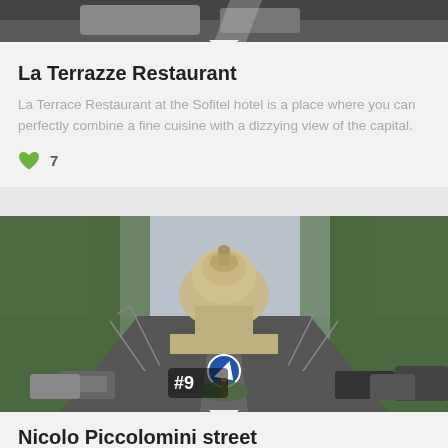[Figure (photo): Partial top image of La Terrazze Restaurant, cropped, showing dark/metallic surface]
La Terrazze Restaurant
La Terrace Restaurant at the Sofitel hotel is a place where you can perfectly combine a fine cuisine with a dizzying view of the capital.
♥ 7
[Figure (photo): Street view of Nicolo Piccolomini street in Rome with St. Peter's Basilica dome visible in the background, trees on both sides, parked cars, and a #9 badge overlay]
Nicolo Piccolomini street